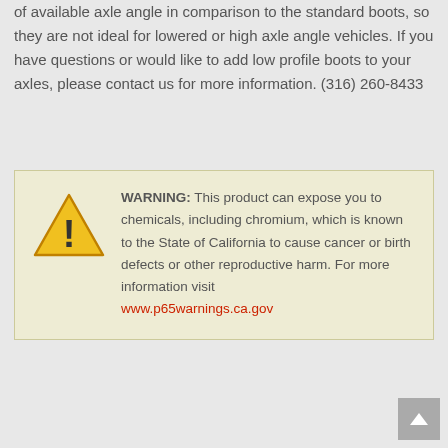of available axle angle in comparison to the standard boots, so they are not ideal for lowered or high axle angle vehicles. If you have questions or would like to add low profile boots to your axles, please contact us for more information. (316) 260-8433
WARNING: This product can expose you to chemicals, including chromium, which is known to the State of California to cause cancer or birth defects or other reproductive harm. For more information visit www.p65warnings.ca.gov